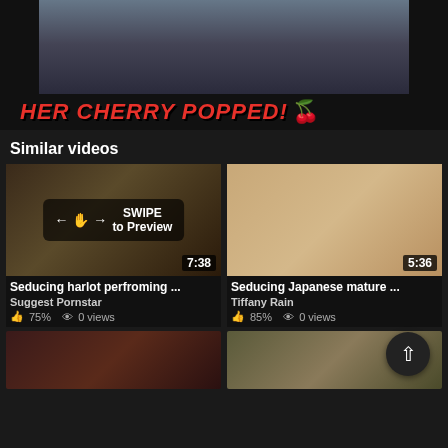[Figure (screenshot): Partial video thumbnail showing a tattooed woman on a sofa with text overlay 'HER CHERRY POPPED!' in red italic bold font with cherry emojis]
Similar videos
[Figure (screenshot): Video thumbnail showing a storage room scene with SWIPE to Preview overlay and duration badge 7:38]
[Figure (screenshot): Video thumbnail showing a Japanese woman, duration badge 5:36]
Seducing harlot perfroming ...
Suggest Pornstar
75%  0 views
Seducing Japanese mature ...
Tiffany Rain
85%  0 views
[Figure (screenshot): Partial bottom video thumbnail left, dark reddish scene]
[Figure (screenshot): Partial bottom video thumbnail right, blonde woman scene]